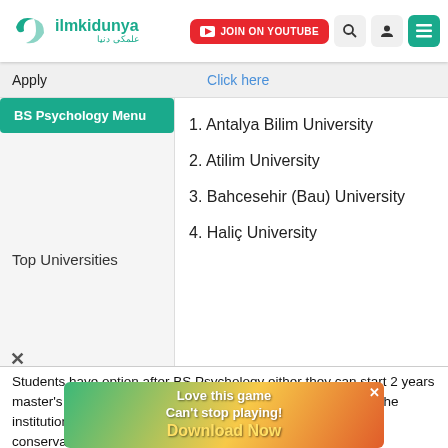[Figure (logo): ilmkidunya logo with teal crescent/bird icon and Arabic text]
JOIN ON YOUTUBE | search | user | menu icons
Apply   Click here
BS Psychology Menu
Top Universities
1. Antalya Bilim University
2. Atilim University
3. Bahcesehir (Bau) University
4. Haliç University
Students have option after BS Psychology either they can start 2 years master's degree or start their career as a psychologist there. The institutions of higher education in Turkey include universities, conservatories, higher cational schools, and research centers.
[Figure (illustration): Advertisement banner: Love this game Can't stop playing! Download Now — Bubble Shooter Animal World]